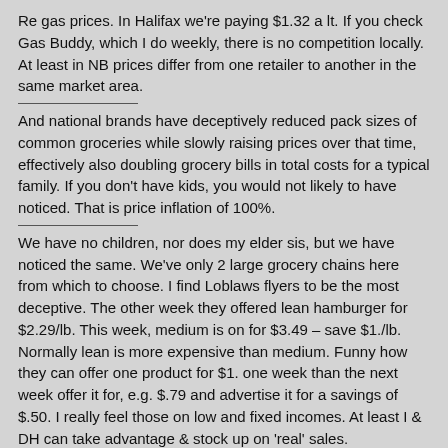Re gas prices. In Halifax we're paying $1.32 a lt. If you check Gas Buddy, which I do weekly, there is no competition locally. At least in NB prices differ from one retailer to another in the same market area.
And national brands have deceptively reduced pack sizes of common groceries while slowly raising prices over that time, effectively also doubling grocery bills in total costs for a typical family. If you don't have kids, you would not likely to have noticed. That is price inflation of 100%.
We have no children, nor does my elder sis, but we have noticed the same. We've only 2 large grocery chains here from which to choose. I find Loblaws flyers to be the most deceptive. The other week they offered lean hamburger for $2.29/lb. This week, medium is on for $3.49 – save $1./lb. Normally lean is more expensive than medium. Funny how they can offer one product for $1. one week than the next week offer it for, e.g. $.79 and advertise it for a savings of $.50. I really feel those on low and fixed incomes. At least I & DH can take advantage & stock up on 'real' sales.
Re Housing inflation. We recently received our property assessment. It has doubled since 2001. Our home is 28 yrs. old. Wow, noticed that the homes on the new end of our street are assessed lower than what I was